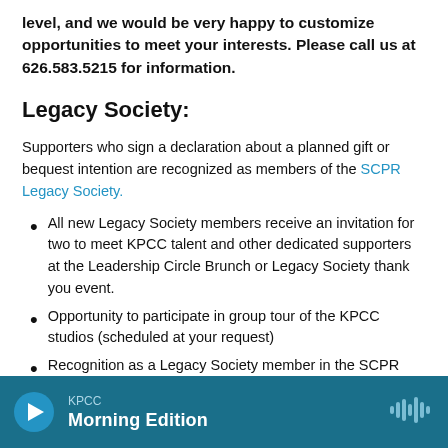level, and we would be very happy to customize opportunities to meet your interests. Please call us at 626.583.5215 for information.
Legacy Society:
Supporters who sign a declaration about a planned gift or bequest intention are recognized as members of the SCPR Legacy Society.
All new Legacy Society members receive an invitation for two to meet KPCC talent and other dedicated supporters at the Leadership Circle Brunch or Legacy Society thank you event.
Opportunity to participate in group tour of the KPCC studios (scheduled at your request)
Recognition as a Legacy Society member in the SCPR Annual Report.
KPCC Morning Edition